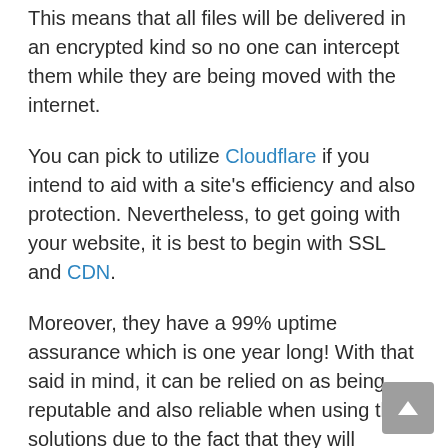This means that all files will be delivered in an encrypted kind so no one can intercept them while they are being moved with the internet.
You can pick to utilize Cloudflare if you intend to aid with a site's efficiency and also protection. Nevertheless, to get going with your website, it is best to begin with SSL and CDN.
Moreover, they have a 99% uptime assurance which is one year long! With that said in mind, it can be relied on as being reputable and also reliable when using their solutions due to the fact that they will certainly do what it takes to maintain up on promises and also care for things prior to